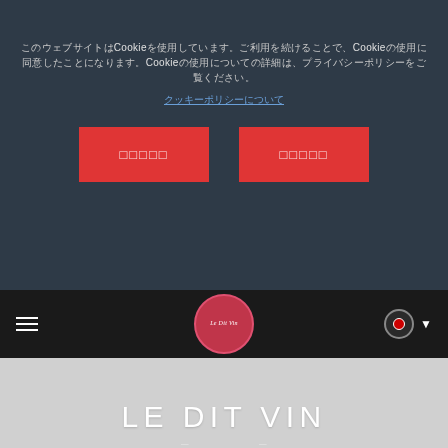このウェブサイトはCookieを使用しています。Cookieの使用についての詳細はCookieポリシーをご覧ください。
クッキーポリシーについて
[Figure (screenshot): Two red buttons with Japanese text]
[Figure (logo): Le Dit Vin circular logo on black navigation bar with hamburger menu and Japanese flag dropdown]
LE DIT VIN